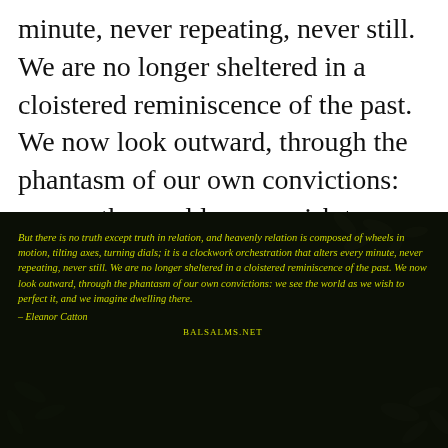minute, never repeating, never still. We are no longer sheltered in a cloistered reminiscence of the past. We now look outward, through the phantasm of our own convictions: we see the world as we wish to perfect it, and we imagine dwelling there.” — Eleanor Catton
[Figure (photo): Dark background photo of white flowers with yellow italic quote text overlay: 'But there is no truth except truth in relation, and heavenly relation is composed of wheels in motion, tilting axes, turning dials; it is a clockwork orchestration that alters every minute, never repeating, never still. We are no longer sheltered in a cloistered reminiscence of the past. We now look outward, through the phantasm of our own convictions: we see the world as we wish to perfect it, and we imagine dwelling there. – Eleanor Catton' with watermark text 'BALSALMS.NET']